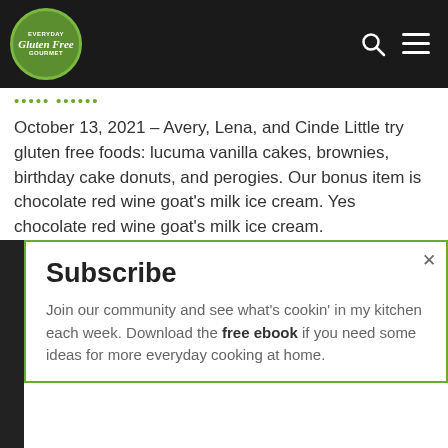Everyday Gluten Free Gourmet
October 13, 2021 – Avery, Lena, and Cinde Little try gluten free foods: lucuma vanilla cakes, brownies, birthday cake donuts, and perogies. Our bonus item is chocolate red wine goat's milk ice cream. Yes chocolate red wine goat's milk ice cream.
Subscribe
Join our community and see what's cookin' in my kitchen each week. Download the free ebook if you need some ideas for more everyday cooking at home.